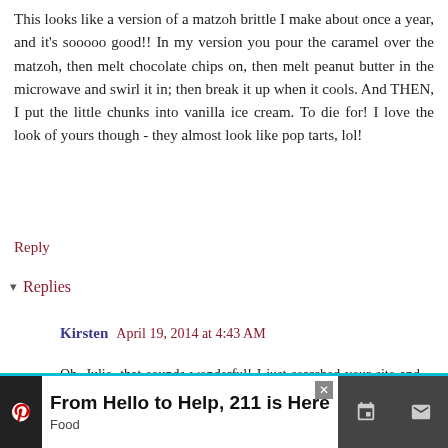This looks like a version of a matzoh brittle I make about once a year, and it's sooooo good!! In my version you pour the caramel over the matzoh, then melt chocolate chips on, then melt peanut butter in the microwave and swirl it in; then break it up when it cools. And THEN, I put the little chunks into vanilla ice cream. To die for! I love the look of yours though - they almost look like pop tarts, lol!
Reply
▾ Replies
Kirsten April 19, 2014 at 4:43 AM
Oh, Julie, that sounds wonderful! I just searched your site and didn't see the recipe--so anytime you're ready to post it lemme know, ok? More ice cream is on my summer agenda, along with trying out my new pizza grill stone and lots of layered vegetable appetizers
From Hello to Help, 211 is Here
Food